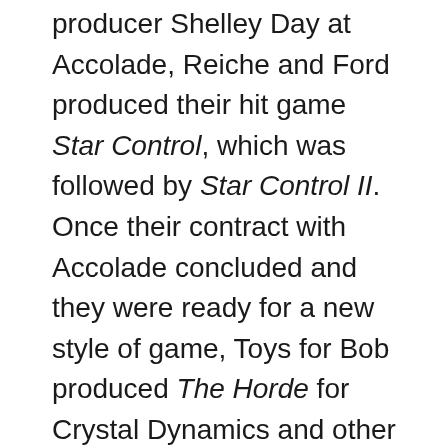producer Shelley Day at Accolade, Reiche and Ford produced their hit game Star Control, which was followed by Star Control II. Once their contract with Accolade concluded and they were ready for a new style of game, Toys for Bob produced The Horde for Crystal Dynamics and other games such as 102 Dalmatians. In 2005, Activision acquired Toys for Bob, and the company created a number of movie-related games before developing the hit Skylanders franchise, something I wrote about here when Paul arranged for a donation to The Strong of a vast collection